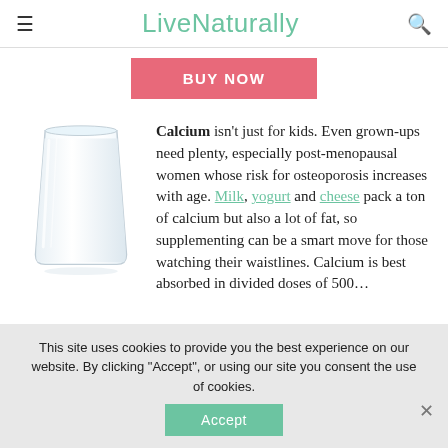LiveNaturally
BUY NOW
[Figure (photo): A glass of white milk on a white background with reflection]
Calcium isn't just for kids. Even grown-ups need plenty, especially post-menopausal women whose risk for osteoporosis increases with age. Milk, yogurt and cheese pack a ton of calcium but also a lot of fat, so supplementing can be a smart move for those watching their waistlines. Calcium is best absorbed in divided doses of 500...
This site uses cookies to provide you the best experience on our website. By clicking "Accept", or using our site you consent the use of cookies.